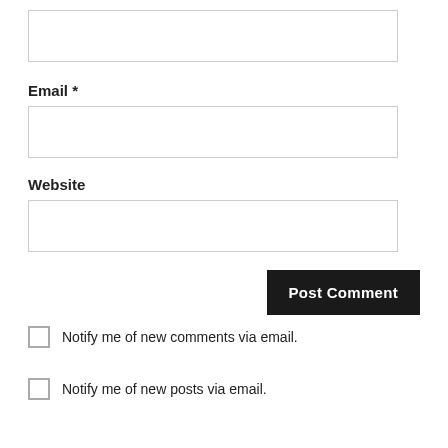[Figure (screenshot): Empty text input field (first, unlabeled, for Name or similar)]
Email *
[Figure (screenshot): Empty text input field for Email]
Website
[Figure (screenshot): Empty text input field for Website]
[Figure (screenshot): Post Comment button]
Notify me of new comments via email.
Notify me of new posts via email.